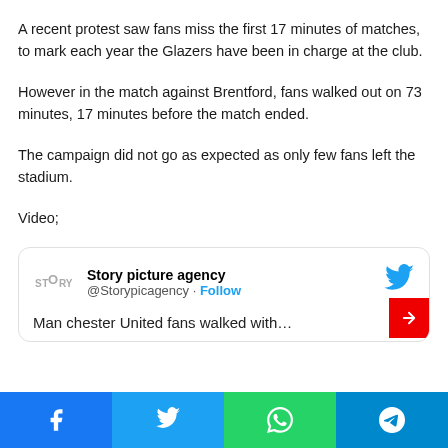A recent protest saw fans miss the first 17 minutes of matches, to mark each year the Glazers have been in charge at the club.
However in the match against Brentford, fans walked out on 73 minutes, 17 minutes before the match ended.
The campaign did not go as expected as only few fans left the stadium.
Video;
[Figure (screenshot): Embedded tweet card from Story picture agency (@Storypicagency) with Follow button and Twitter bird icon, showing partial tweet text below.]
Social share bar with Facebook, Twitter, WhatsApp, and Telegram buttons